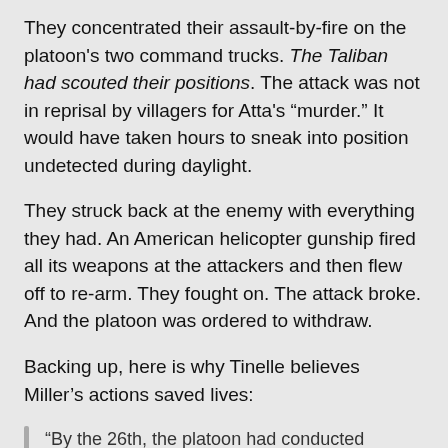They concentrated their assault-by-fire on the platoon’s two command trucks. The Taliban had scouted their positions. The attack was not in reprisal by villagers for Atta’s “murder.” It would have taken hours to sneak into position undetected during daylight.
They struck back at the enemy with everything they had. An American helicopter gunship fired all its weapons at the attackers and then flew off to re-arm. They fought on. The attack broke. And the platoon was ordered to withdraw.
Backing up, here is why Tinelle believes Miller’s actions saved lives:
“By the 26th, the platoon had conducted continuous operations for two days. The battalion was ex-filtrating. The platoon needed some rest while awaiting